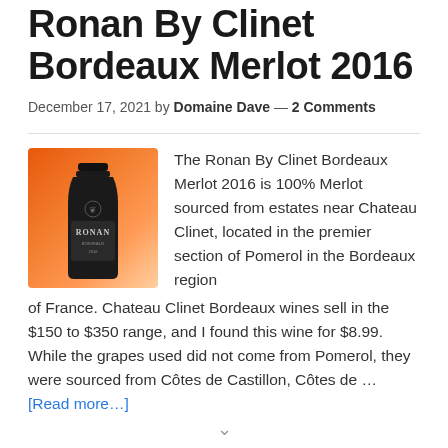Ronan By Clinet Bordeaux Merlot 2016
December 17, 2021 by Domaine Dave — 2 Comments
[Figure (photo): Wine bottle photo of Ronan By Clinet Bordeaux Merlot 2016 against an orange background]
The Ronan By Clinet Bordeaux Merlot 2016 is 100% Merlot sourced from estates near Chateau Clinet, located in the premier section of Pomerol in the Bordeaux region of France. Chateau Clinet Bordeaux wines sell in the $150 to $350 range, and I found this wine for $8.99. While the grapes used did not come from Pomerol, they were sourced from Côtes de Castillon, Côtes de … [Read more...]